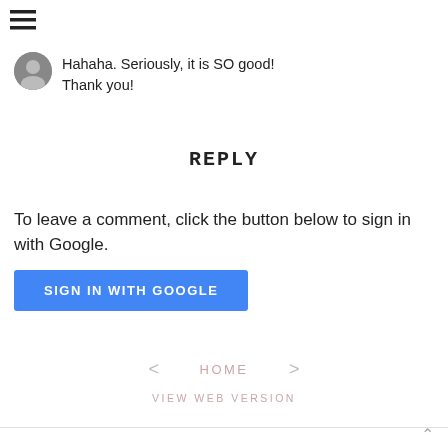[Figure (other): Hamburger menu icon (three horizontal lines) in top-left corner]
Hahaha. Seriously, it is SO good! Thank you!
REPLY
To leave a comment, click the button below to sign in with Google.
[Figure (other): Blue button labeled SIGN IN WITH GOOGLE]
< HOME > VIEW WEB VERSION